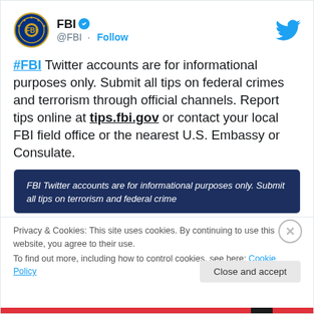[Figure (logo): FBI circular seal logo]
FBI @FBI · Follow
#FBI Twitter accounts are for informational purposes only. Submit all tips on federal crimes and terrorism through official channels. Report tips online at tips.fbi.gov or contact your local FBI field office or the nearest U.S. Embassy or Consulate.
[Figure (screenshot): FBI Twitter account preview card with dark blue background showing partial tweet text: FBI Twitter accounts are for informational purposes only. Submit all tips on terrorism and federal crime]
Privacy & Cookies: This site uses cookies. By continuing to use this website, you agree to their use.
To find out more, including how to control cookies, see here: Cookie Policy